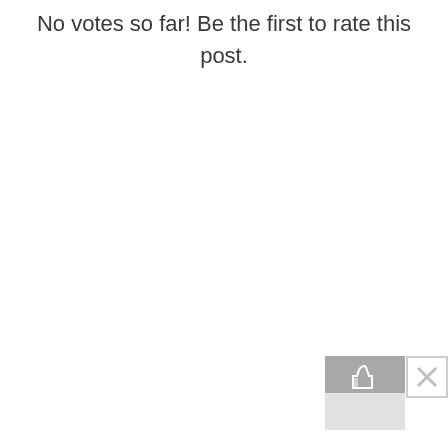No votes so far! Be the first to rate this post.
[Figure (screenshot): A small UI widget in the bottom-right corner consisting of a two-tone box (dark grey top half, light grey bottom half) and a white close button with an X beside it.]